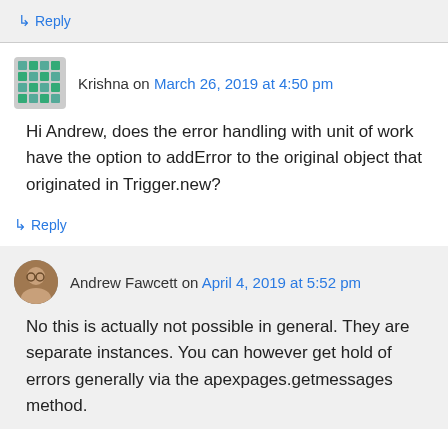↳ Reply
Krishna on March 26, 2019 at 4:50 pm
Hi Andrew, does the error handling with unit of work have the option to addError to the original object that originated in Trigger.new?
↳ Reply
Andrew Fawcett on April 4, 2019 at 5:52 pm
No this is actually not possible in general. They are separate instances. You can however get hold of errors generally via the apexpages.getmessages method.